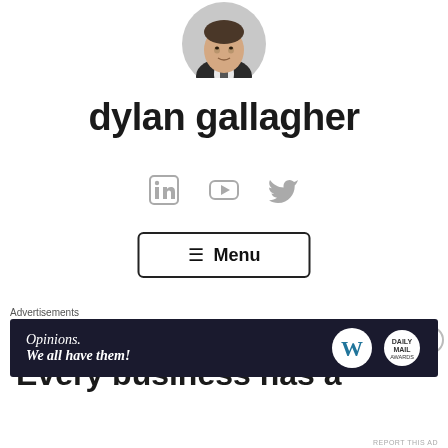[Figure (photo): Circular profile photo of Dylan Gallagher, a man in a dark suit, cropped at top]
dylan gallagher
[Figure (illustration): Social media icons: LinkedIn, YouTube, Twitter in grey]
☰ Menu
Every business has a
Advertisements
[Figure (screenshot): Advertisement banner: dark navy background with italic text 'Opinions. We all have them!' with WordPress logo and another round logo on right]